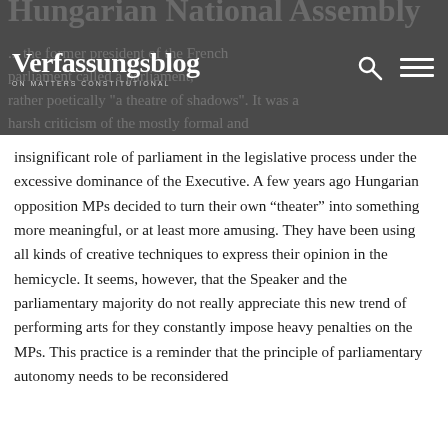Verfassungsblog ON MATTERS CONSTITUTIONAL
insignificant role of parliament in the legislative process under the excessive dominance of the Executive. A few years ago Hungarian opposition MPs decided to turn their own “theater” into something more meaningful, or at least more amusing. They have been using all kinds of creative techniques to express their opinion in the hemicycle. It seems, however, that the Speaker and the parliamentary majority do not really appreciate this new trend of performing arts for they constantly impose heavy penalties on the MPs. This practice is a reminder that the principle of parliamentary autonomy needs to be reconsidered